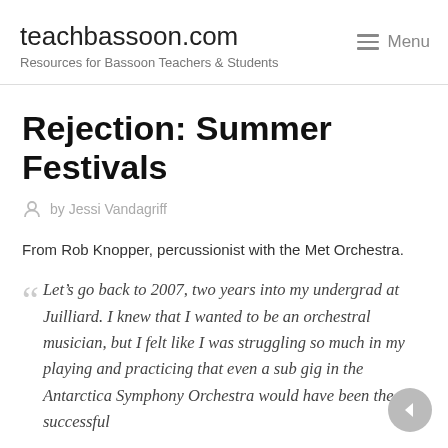teachbassoon.com
Resources for Bassoon Teachers & Students
Rejection: Summer Festivals
by Jessi Vandagriff
From Rob Knopper, percussionist with the Met Orchestra.
Let’s go back to 2007, two years into my undergrad at Juilliard. I knew that I wanted to be an orchestral musician, but I felt like I was struggling so much in my playing and practicing that even a sub gig in the Antarctica Symphony Orchestra would have been the successful